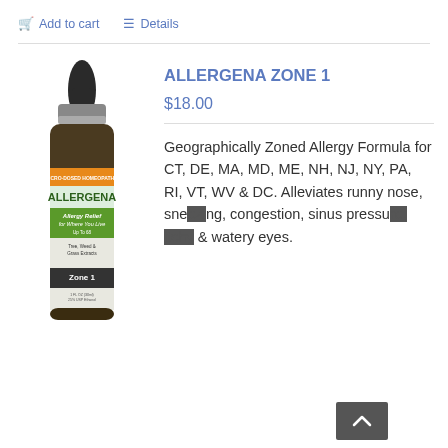Add to cart
Details
ALLERGENA ZONE 1
$18.00
[Figure (photo): Brown glass dropper bottle of Allergena Zone 1 allergy relief product]
Geographically Zoned Allergy Formula for CT, DE, MA, MD, ME, NH, NJ, NY, PA, RI, VT, WV & DC. Alleviates runny nose, sneezing, congestion, sinus pressure, itchy & watery eyes.